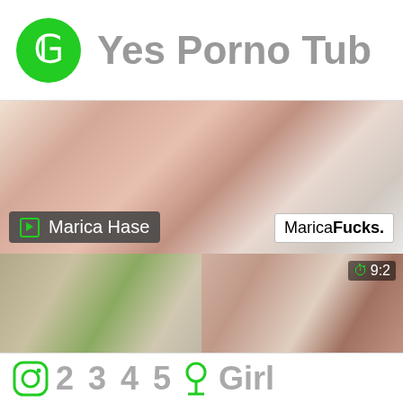Yes Porno Tub
[Figure (screenshot): Adult video thumbnail showing a woman with a device, with overlay labels 'Marica Hase' and 'MaricaFucks.']
[Figure (screenshot): Two adult video thumbnails side by side, one showing a green item and bag, one showing a redhead person with time badge 9:2]
2 3 4 5 Girl